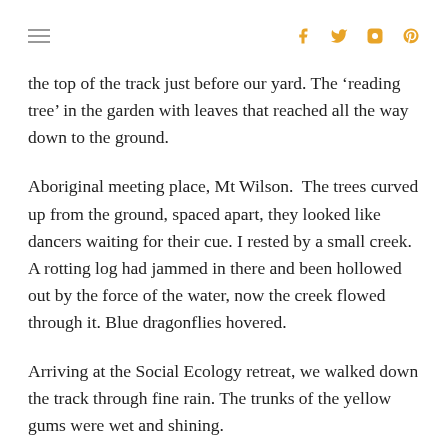≡  [social icons: facebook, twitter, instagram, pinterest]
the top of the track just before our yard. The ‘reading tree’ in the garden with leaves that reached all the way down to the ground.
Aboriginal meeting place, Mt Wilson.  The trees curved up from the ground, spaced apart, they looked like dancers waiting for their cue. I rested by a small creek. A rotting log had jammed in there and been hollowed out by the force of the water, now the creek flowed through it. Blue dragonflies hovered.
Arriving at the Social Ecology retreat, we walked down the track through fine rain. The trunks of the yellow gums were wet and shining.
Flying into Seattle. Everything is green.
The whole crowd moved from point to point in the garden. There were poems. Friends sang from the balcony. For our wedding